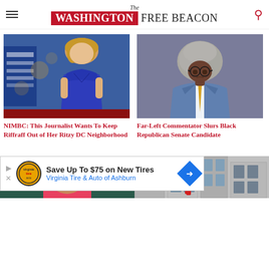The Washington Free Beacon
[Figure (photo): Woman in blue sequined dress at White House Correspondents event]
NIMBC: This Journalist Wants To Keep Riffraff Out of Her Ritzy DC Neighborhood
[Figure (photo): Black man with gray afro, glasses, wearing blue suit with yellow tie]
Far-Left Commentator Slurs Black Republican Senate Candidate
[Figure (infographic): Advertisement: Save Up To $75 on New Tires - Virginia Tire & Auto of Ashburn]
[Figure (photo): Partial view of woman in red/pink top, with House sign visible in background]
[Figure (photo): Partial view of buildings with person in red jacket, radiator-style architecture]